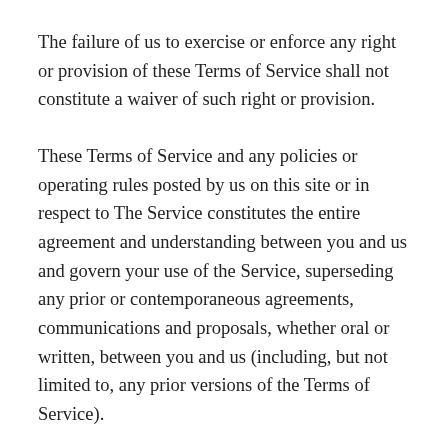The failure of us to exercise or enforce any right or provision of these Terms of Service shall not constitute a waiver of such right or provision.
These Terms of Service and any policies or operating rules posted by us on this site or in respect to The Service constitutes the entire agreement and understanding between you and us and govern your use of the Service, superseding any prior or contemporaneous agreements, communications and proposals, whether oral or written, between you and us (including, but not limited to, any prior versions of the Terms of Service).
Any ambiguities in the interpretation of these Terms of Service shall not be construed against the drafting